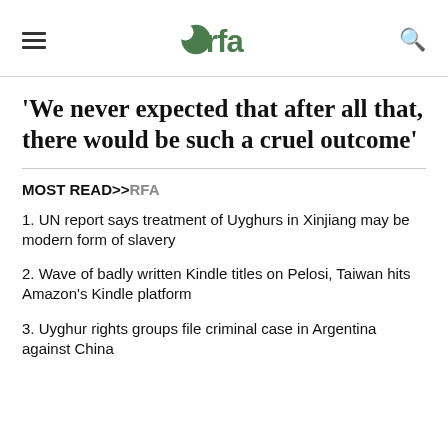rfa
'We never expected that after all that, there would be such a cruel outcome'
MOST READ>>RFA
1. UN report says treatment of Uyghurs in Xinjiang may be modern form of slavery
2. Wave of badly written Kindle titles on Pelosi, Taiwan hits Amazon's Kindle platform
3. Uyghur rights groups file criminal case in Argentina against China